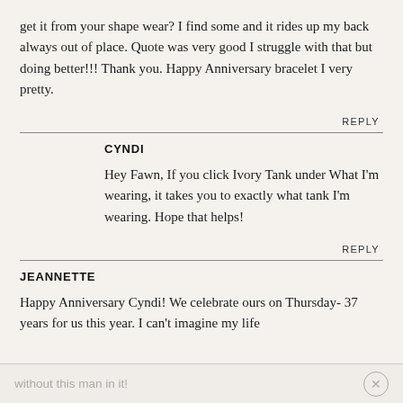get it from your shape wear? I find some and it rides up my back always out of place. Quote was very good I struggle with that but doing better!!! Thank you. Happy Anniversary bracelet I very pretty.
REPLY
CYNDI
Hey Fawn, If you click Ivory Tank under What I'm wearing, it takes you to exactly what tank I'm wearing. Hope that helps!
REPLY
JEANNETTE
Happy Anniversary Cyndi! We celebrate ours on Thursday- 37 years for us this year. I can't imagine my life
without this man in it!